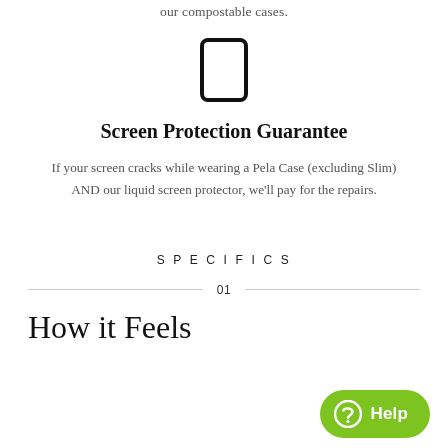our compostable cases.
[Figure (illustration): Simple outline icon of a smartphone/tablet device (rectangle with rounded corners and a button)]
Screen Protection Guarantee
If your screen cracks while wearing a Pela Case (excluding Slim) AND our liquid screen protector, we'll pay for the repairs.
SPECIFICS
01
How it Feels
[Figure (other): Green help button with chat bubble icon and text 'Help']